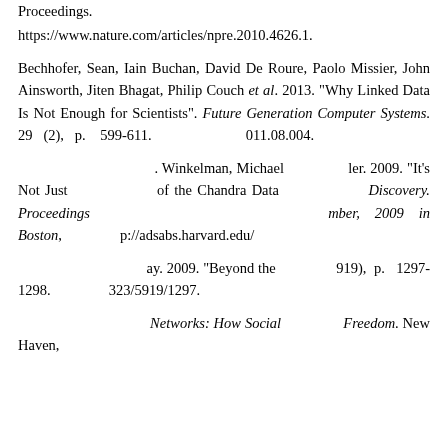Proceedings. https://www.nature.com/articles/npre.2010.4626.1.
Bechhofer, Sean, Iain Buchan, David De Roure, Paolo Missier, John Ainsworth, Jiten Bhagat, Philip Couch et al. 2013. “Why Linked Data Is Not Enough for Scientists”. Future Generation Computer Systems. 29 (2), p. 599-611. [doi]...011.08.004.
... Winkelman, Michael ... er. 2009. “It’s Not Just ... of the Chandra Data ... Discovery. Proceedings ... mber, 2009 in Boston, ... p://adsabs.harvard.edu/
... ay. 2009. “Beyond the ... 919), p. 1297-1298. ... 323/5919/1297.
... Networks: How Social ... Freedom. New Haven,
[Figure (screenshot): Cookie consent modal overlay in French. Title icons (share/phone). Text: 'Ce site utilise des cookies et vous donne le contrôle sur ceux que vous souhaitez activer'. Buttons: green 'Tout accepter', red 'Tout refuser', white 'Personnaliser', and link 'Politique de confidentialité'.]